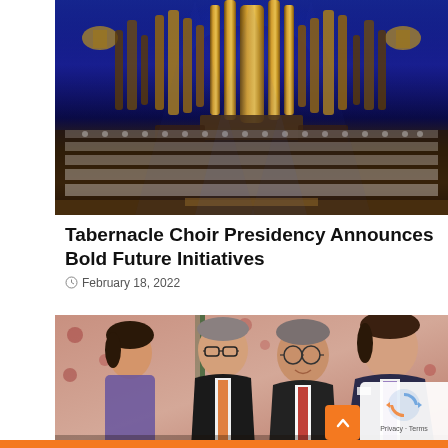[Figure (photo): Tabernacle Choir performing in front of the large pipe organ with blue atmospheric lighting; rows of choir members in white robes fill the lower portion of the image]
Tabernacle Choir Presidency Announces Bold Future Initiatives
February 18, 2022
[Figure (photo): Three men in formal attire (suits and ties) talking and smiling at a social gathering, with a floral wallpaper background]
Privacy · Terms